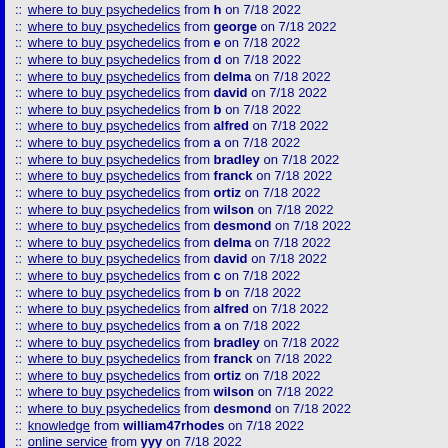:: where to buy psychedelics from h on 7/18 2022
:: where to buy psychedelics from george on 7/18 2022
:: where to buy psychedelics from e on 7/18 2022
:: where to buy psychedelics from d on 7/18 2022
:: where to buy psychedelics from delma on 7/18 2022
:: where to buy psychedelics from david on 7/18 2022
:: where to buy psychedelics from b on 7/18 2022
:: where to buy psychedelics from alfred on 7/18 2022
:: where to buy psychedelics from a on 7/18 2022
:: where to buy psychedelics from bradley on 7/18 2022
:: where to buy psychedelics from franck on 7/18 2022
:: where to buy psychedelics from ortiz on 7/18 2022
:: where to buy psychedelics from wilson on 7/18 2022
:: where to buy psychedelics from desmond on 7/18 2022
:: where to buy psychedelics from delma on 7/18 2022
:: where to buy psychedelics from david on 7/18 2022
:: where to buy psychedelics from c on 7/18 2022
:: where to buy psychedelics from b on 7/18 2022
:: where to buy psychedelics from alfred on 7/18 2022
:: where to buy psychedelics from a on 7/18 2022
:: where to buy psychedelics from bradley on 7/18 2022
:: where to buy psychedelics from franck on 7/18 2022
:: where to buy psychedelics from ortiz on 7/18 2022
:: where to buy psychedelics from wilson on 7/18 2022
:: where to buy psychedelics from desmond on 7/18 2022
:: knowledge from william47rhodes on 7/18 2022
:: online service from yyy on 7/18 2022
:: https://news.herbapproach.com/what-is-bhang/ from bhang on 7/18
:: https://news.herbapproach.com/how-to-vape-hash/ from how to va
:: venmo limit from Jenny Rose on 7/18 2022